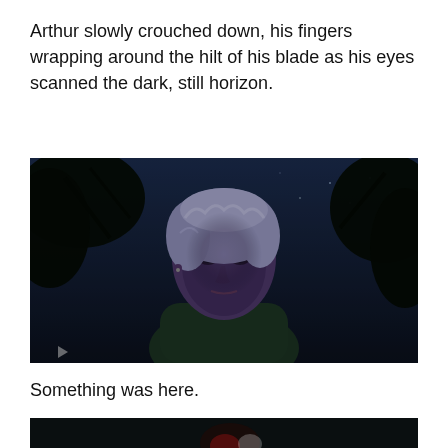Arthur slowly crouched down, his fingers wrapping around the hilt of his blade as his eyes scanned the dark, still horizon.
[Figure (screenshot): A dark, moody screenshot of a pale-haired male video game character (from The Sims or similar 3D game) crouching in a night scene with dark trees against a dark blue night sky. The character wears a dark green outfit and has silver/blue hair.]
Something was here.
[Figure (screenshot): A partially visible dark screenshot showing the beginning of another scene, very dark with minimal visible detail at the bottom of the page.]